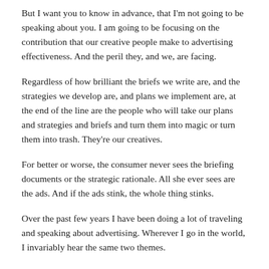But I want you to know in advance, that I'm not going to be speaking about you. I am going to be focusing on the contribution that our creative people make to advertising effectiveness. And the peril they, and we, are facing.
Regardless of how brilliant the briefs we write are, and the strategies we develop are, and plans we implement are, at the end of the line are the people who will take our plans and strategies and briefs and turn them into magic or turn them into trash. They're our creatives.
For better or worse, the consumer never sees the briefing documents or the strategic rationale. All she ever sees are the ads. And if the ads stink, the whole thing stinks.
Over the past few years I have been doing a lot of traveling and speaking about advertising. Wherever I go in the world, I invariably hear the same two themes.